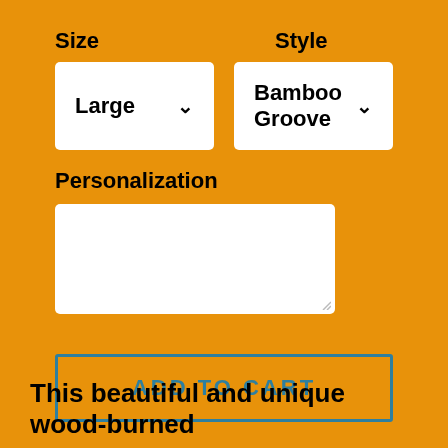Size
Style
Large
Bamboo Groove
Personalization
ADD TO CART
This beautiful and unique wood-burned